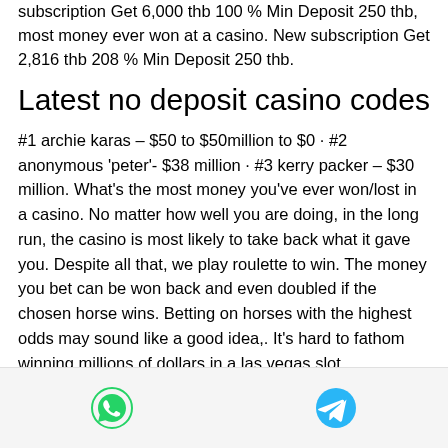subscription Get 6,000 thb 100 % Min Deposit 250 thb, most money ever won at a casino. New subscription Get 2,816 thb 208 % Min Deposit 250 thb.
Latest no deposit casino codes
#1 archie karas – $50 to $50million to $0 · #2 anonymous 'peter'- $38 million · #3 kerry packer – $30 million. What's the most money you've ever won/lost in a casino. No matter how well you are doing, in the long run, the casino is most likely to take back what it gave you. Despite all that, we play roulette to win. The money you bet can be won back and even doubled if the chosen horse wins. Betting on horses with the highest odds may sound like a good idea,. It's hard to fathom winning millions of dollars in a las vegas slot
[WhatsApp icon] [Telegram icon]